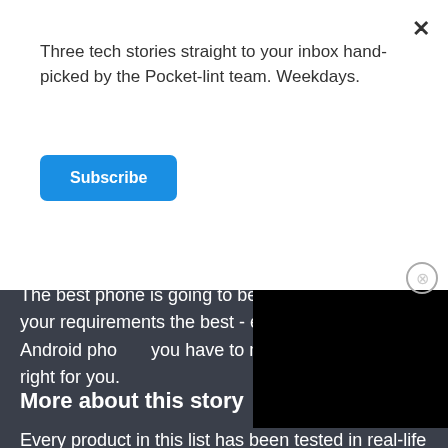Three tech stories straight to your inbox hand-picked by the Pocket-lint team. Weekdays.
Subscribe
If you spend your whole time gaming, is a gaming phone better for you?
The best phone is going to be the phone that fits your requirements the best - evaluate all the Android phones you have to make the decision right for you.
More about this story
Every product in this list has been tested in real-life